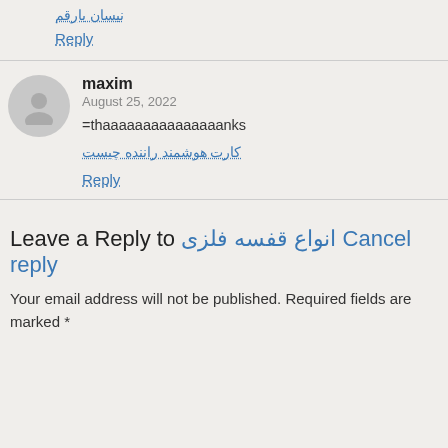نیسان بارقم
Reply
maxim
August 25, 2022
=thaaaaaaaaaaaaaaanks
کارت هوشمند راننده چیست
Reply
Leave a Reply to انواع قفسه فلزی Cancel reply
Your email address will not be published. Required fields are marked *